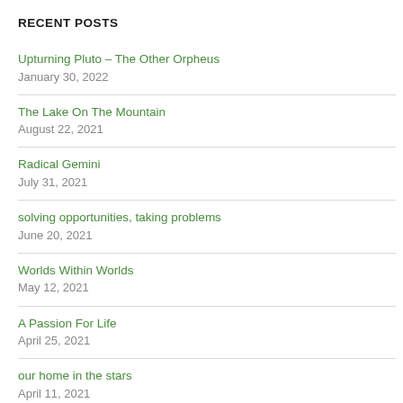RECENT POSTS
Upturning Pluto – The Other Orpheus
January 30, 2022
The Lake On The Mountain
August 22, 2021
Radical Gemini
July 31, 2021
solving opportunities, taking problems
June 20, 2021
Worlds Within Worlds
May 12, 2021
A Passion For Life
April 25, 2021
our home in the stars
April 11, 2021
The New Dominion